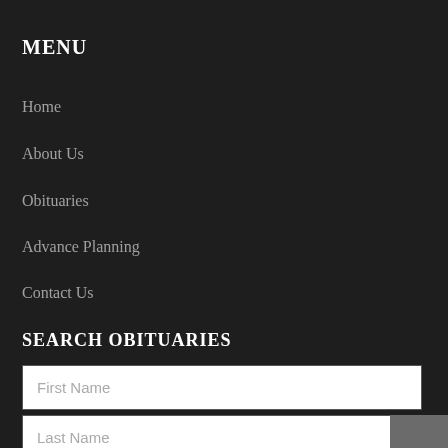MENU
Home
About Us
Obituaries
Advance Planning
Contact Us
SEARCH OBITUARIES
First Name
Last Name
Death Date